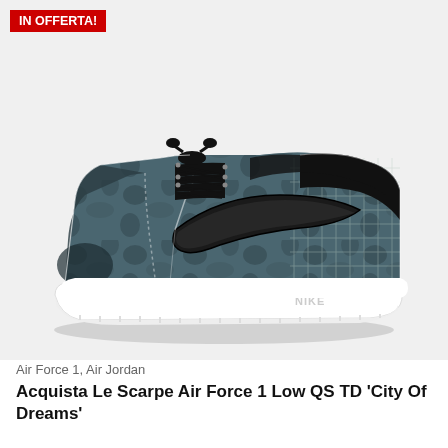[Figure (photo): Nike Air Force 1 Low QS TD 'City Of Dreams' sneaker in dark teal/grey camo pattern with black Swoosh logo and white sole, shown from the side on a light grey background. A red 'IN OFFERTA!' badge is visible in the top-left corner.]
Air Force 1, Air Jordan
Acquista Le Scarpe Air Force 1 Low QS TD 'City Of Dreams'